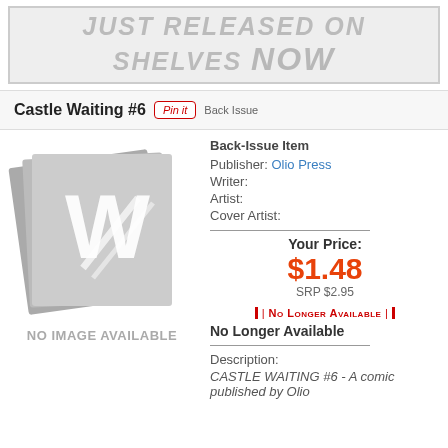JUST RELEASED ON SHELVES NOW
Castle Waiting #6  Pin it  Back Issue
[Figure (illustration): No image available placeholder with stylized W logo on stacked grey comic book pages]
NO IMAGE AVAILABLE
Back-Issue Item
Publisher: Olio Press
Writer:
Artist:
Cover Artist:
Your Price:
$1.48
SRP $2.95
| No Longer Available |
No Longer Available
Description:
CASTLE WAITING #6 - A comic published by Olio